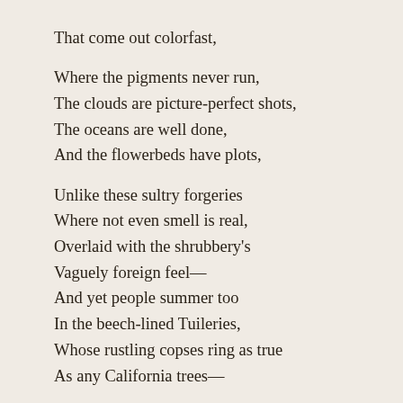That come out colorfast,

Where the pigments never run,
The clouds are picture-perfect shots,
The oceans are well done,
And the flowerbeds have plots,

Unlike these sultry forgeries
Where not even smell is real,
Overlaid with the shrubbery's
Vaguely foreign feel—
And yet people summer too
In the beech-lined Tuileries,
Whose rustling copses ring as true
As any California trees—